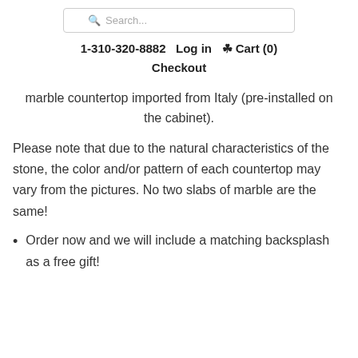Search...
1-310-320-8882   Log in   Cart (0)   Checkout
marble countertop imported from Italy (pre-installed on the cabinet).
Please note that due to the natural characteristics of the stone, the color and/or pattern of each countertop may vary from the pictures. No two slabs of marble are the same!
Order now and we will include a matching backsplash as a free gift!